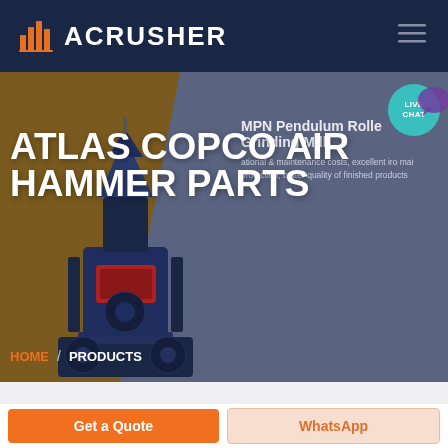ACRUSHER
[Figure (screenshot): ACRUSHER website screenshot showing Atlas Copco Air Hammer Parts product page with a large industrial machine image on a split brown/gray diagonal hero background, MPN Pendulum Roller Grinding Mill content on the right, LIVE CHAT bubble, HOME / PRODUCTS breadcrumb, and Get a Quote / WhatsApp buttons at the bottom]
ATLAS COPCO AIR HAMMER PARTS
MPN Pendulum Roller Grinding Mill
ational & maintenance costs, excellent iro mai protection, better quality of finished products
HOME
PRODUCTS
Get a Quote
WhatsApp